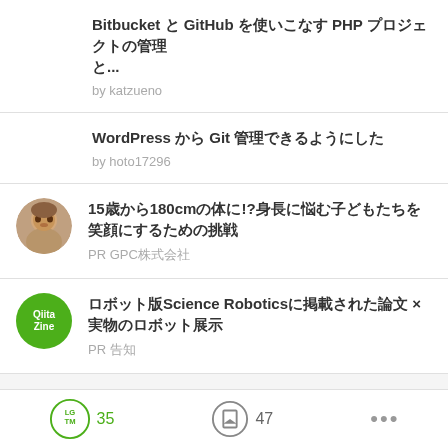Bitbucket と GitHub を使いこなす PHP プロジェクトの管理...
by katzueno
WordPress から Git 管理できるようにした
by hoto17296
15歳から180cmの体に!?身長に悩む子どもたちを笑顔にするための挑戦
PR GPC株式会社
ロボット版Science Roboticsに掲載された論文 × 実物のロボット展示
PR 告知